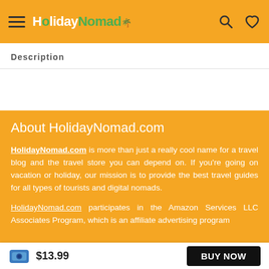HolidayNomad — header with hamburger menu, logo, search and heart icons
Description
About HolidayNomad.com
HolidayNomad.com is more than just a really cool name for a travel blog and the travel store you can depend on. If you're going on vacation or holiday, our mission is to provide the best travel guides for all types of tourists and digital nomads.
HolidayNomad.com participates in the Amazon Services LLC Associates Program, which is an affiliate advertising program
$13.99  BUY NOW